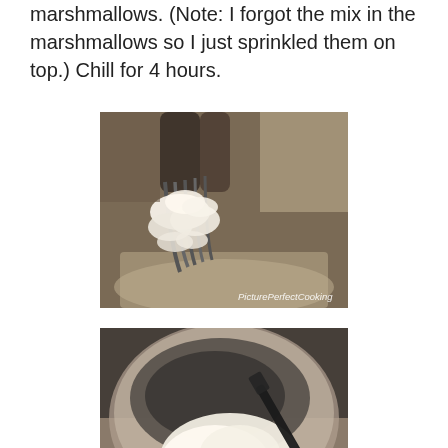marshmallows. (Note: I forgot the mix in the marshmallows so I just sprinkled them on top.)  Chill for 4 hours.
[Figure (photo): Close-up photo of a whisk attachment covered in thick whipped cream or meringue, held over a stainless steel mixing bowl. Watermark reads 'PicturePerfectCooking'.]
[Figure (photo): Photo of a stainless steel mixing bowl with white creamy mixture being folded with a black spatula, held by a hand visible at bottom left. Watermark reads 'PicturePerfectCooking'.]
[Figure (photo): Partial photo of another cooking step, cut off at bottom of page.]